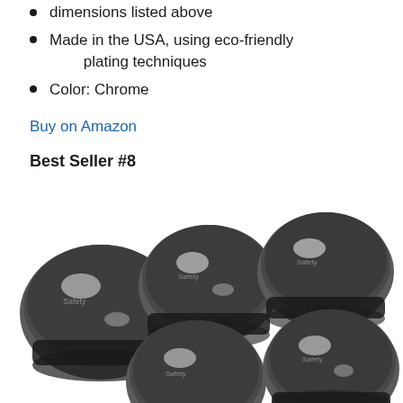dimensions listed above
Made in the USA, using eco-friendly plating techniques
Color: Chrome
Buy on Amazon
Best Seller #8
[Figure (photo): Five chrome stove knob covers (Safety 1st brand) arranged in a loose cluster on a white background, showing their shiny chrome finish and black safety mechanism underneath.]